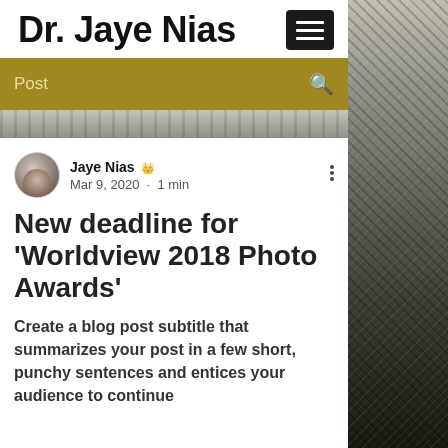Dr. Jaye Nias
Post
[Figure (photo): Hero image strip showing a street scene in black and white]
Jaye Nias 👑
Mar 9, 2020 · 1 min
New deadline for 'Worldview 2018 Photo Awards'
Create a blog post subtitle that summarizes your post in a few short, punchy sentences and entices your audience to continue